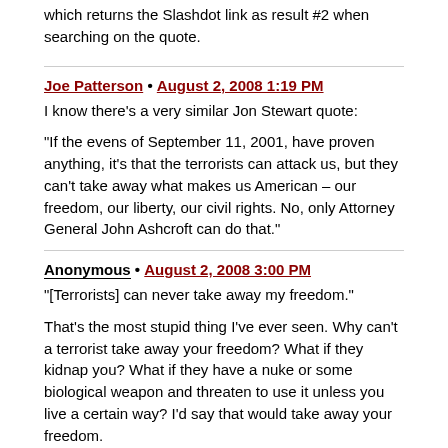which returns the Slashdot link as result #2 when searching on the quote.
Joe Patterson • August 2, 2008 1:19 PM
I know there's a very similar Jon Stewart quote:

"If the evens of September 11, 2001, have proven anything, it's that the terrorists can attack us, but they can't take away what makes us American – our freedom, our liberty, our civil rights. No, only Attorney General John Ashcroft can do that."
Anonymous • August 2, 2008 3:00 PM
"[Terrorists] can never take away my freedom."

That's the most stupid thing I've ever seen. Why can't a terrorist take away your freedom? What if they kidnap you? What if they have a nuke or some biological weapon and threaten to use it unless you live a certain way? I'd say that would take away your freedom.